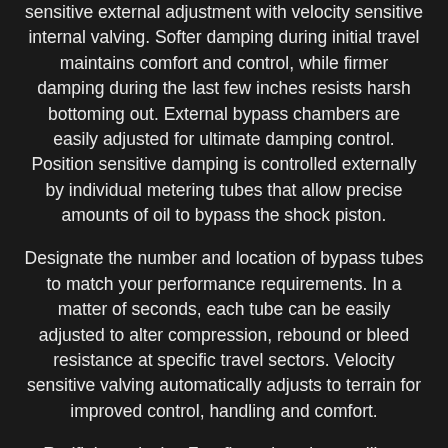sensitive external adjustment with velocity sensitive internal valving. Softer damping during initial travel maintains comfort and control, while firmer damping during the last few inches resists harsh bottoming out. External bypass chambers are easily adjusted for ultimate damping control. Position sensitive damping is controlled externally by individual metering tubes that allow precise amounts of oil to bypass the shock piston.
Designate the number and location of bypass tubes to match your performance requirements. In a matter of seconds, each tube can be easily adjusted to alter compression, rebound or bleed resistance at specific travel sectors. Velocity sensitive valving automatically adjusts to terrain for improved control, handling and comfort.
Radflo's exclusive Freeflo racing piston utilizes adaptive damping technology to automatically match shock performance to surface conditions. Multi-stage compression and rebound damping characteristics can be independently customized to suit your vehicle setup and driving preferences. Exceptionally strong piston rod assembly designed for the